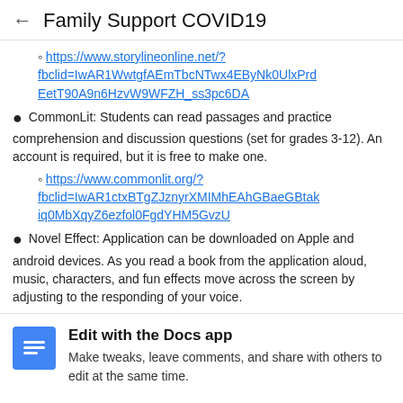Family Support COVID19
https://www.storylineonline.net/?fbclid=IwAR1WwtgfAEmTbcNTwx4EByNk0UlxPrdEetT90A9n6HzvW9WFZH_ss3pc6DA
CommonLit: Students can read passages and practice comprehension and discussion questions (set for grades 3-12). An account is required, but it is free to make one.
https://www.commonlit.org/?fbclid=IwAR1ctxBTgZJznyrXMIMhEAhGBaeGBtakiq0MbXqyZ6ezfol0FgdYHM5GvzU
Novel Effect: Application can be downloaded on Apple and android devices. As you read a book from the application aloud, music, characters, and fun effects move across the screen by adjusting to the responding of your voice.
Edit with the Docs app
Make tweaks, leave comments, and share with others to edit at the same time.
NO THANKS | GET THE APP